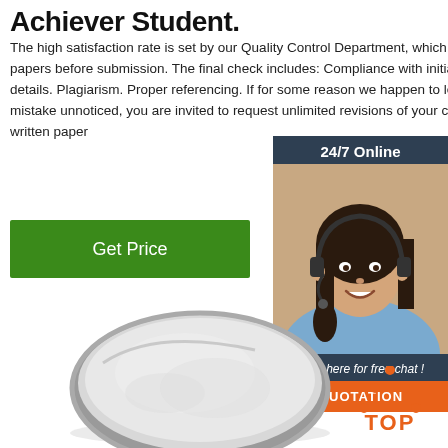Achiever Student.
The high satisfaction rate is set by our Quality Control Department, which checks all papers before submission. The final check includes: Compliance with initial order details. Plagiarism. Proper referencing. If for some reason we happen to leave a mistake unnoticed, you are invited to request unlimited revisions of your custom-written paper
Get Price
[Figure (photo): Woman with headset smiling - customer support agent with 24/7 Online chat widget]
[Figure (photo): White powder in a round dish/bowl]
[Figure (logo): TOP logo with orange dots forming a triangle above the word TOP]